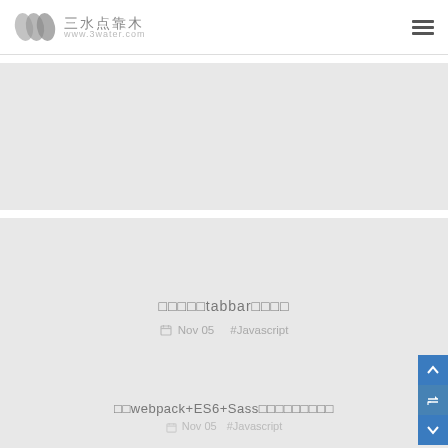三水点靠木 www.3water.com
[Figure (other): Blank light gray card area (top card, partial view)]
原生JStabbar底部导航
Nov 05  #Javascript
用webpack+ES6+Sass构建前端项目的步骤
Nov 05  #Javascript